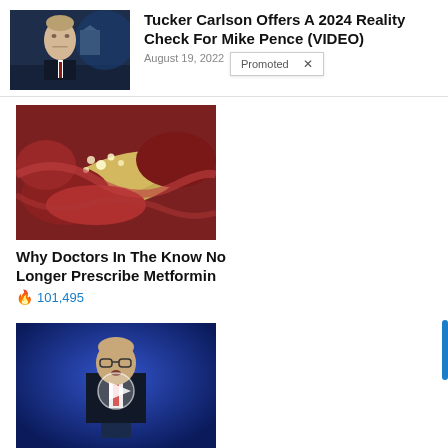[Figure (photo): Thumbnail photo of Tucker Carlson in a TV studio setting with dark background and blue lighting]
Tucker Carlson Offers A 2024 Reality Check For Mike Pence (VIDEO)
August 19, 2022
Promoted X
[Figure (photo): Close-up medical image showing internal organs, appears to be a pancreas or intestinal tissue with reddish-pink color]
Why Doctors In The Know No Longer Prescribe Metformin
🔥 101,495
[Figure (photo): Video thumbnail of a man in a suit speaking at a podium against a blue background, with a play button overlay]
Overlooked Message In The Bible Democrats Want Banned
🔥 135,949